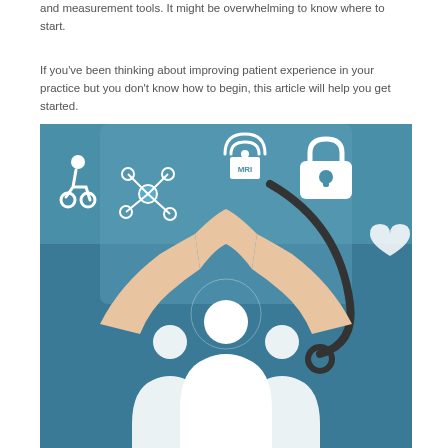and measurement tools. It might be overwhelming to know where to start.
If you've been thinking about improving patient experience in your practice but you don't know how to begin, this article will help you get started.
[Figure (photo): A healthcare professional in blue scrubs with a stethoscope, hands forming a protective arch over three white silhouetted patient figures, surrounded by medical and digital health icons including a wheelchair symbol, network/molecule icon, MRI icon, lock/security icon, and heart icon.]